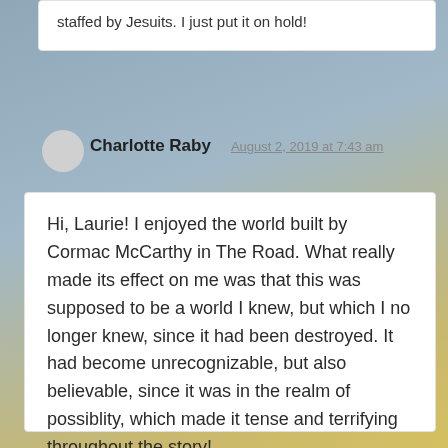staffed by Jesuits. I just put it on hold!
Charlotte Raby
August 2, 2019 at 7:43 am
Hi, Laurie! I enjoyed the world built by Cormac McCarthy in The Road. What really made its effect on me was that this was supposed to be a world I knew, but which I no longer knew, since it had been destroyed. It had become unrecognizable, but also believable, since it was in the realm of possiblity, which made it tense and terrifying throughout the story!